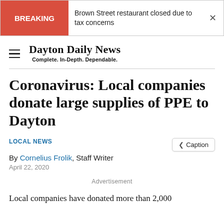BREAKING | Brown Street restaurant closed due to tax concerns
Dayton Daily News
Complete. In-Depth. Dependable.
Coronavirus: Local companies donate large supplies of PPE to Dayton
LOCAL NEWS
By Cornelius Frolik, Staff Writer
April 22, 2020
Advertisement
Local companies have donated more than 2,000